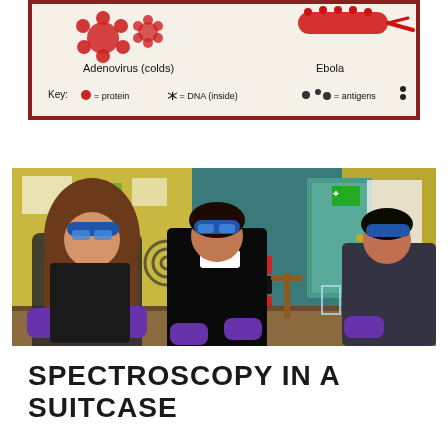[Figure (photo): A hand-drawn poster showing virus illustrations: Adenovirus (colds) on the left with red flower-like shapes, Ebola on the right with a red elongated shape, and a key at the bottom showing protein (red circle), DNA inside, and antigens symbols.]
[Figure (photo): Students in a classroom wearing blue safety goggles and purple latex gloves, working at lab benches with beakers and equipment. Three students visible: a girl with long hair on the left, a boy in black school uniform in the center, and another student on the right.]
SPECTROSCOPY IN A SUITCASE